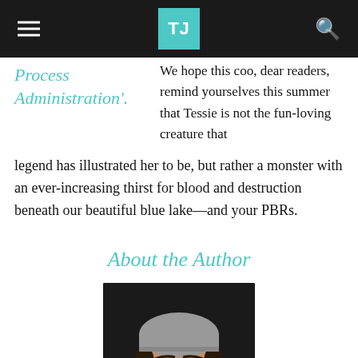TJ
Process Administration'.
We hope this coo, dear readers, remind yourselves this summer that Tessie is not the fun-loving creature that legend has illustrated her to be, but rather a monster with an ever-increasing thirst for blood and destruction beneath our beautiful blue lake—and your PBRs.
About the Author
[Figure (photo): Author photo: young man with wide eyes, grey beanie hat, beard, looking up at camera against dark background]